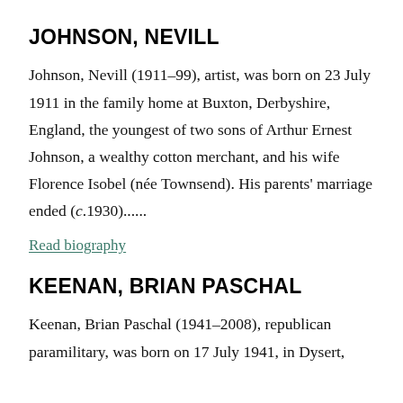JOHNSON, NEVILL
Johnson, Nevill (1911–99), artist, was born on 23 July 1911 in the family home at Buxton, Derbyshire, England, the youngest of two sons of Arthur Ernest Johnson, a wealthy cotton merchant, and his wife Florence Isobel (née Townsend). His parents' marriage ended (c.1930)......
Read biography
KEENAN, BRIAN PASCHAL
Keenan, Brian Paschal (1941–2008), republican paramilitary, was born on 17 July 1941, in Dysert,